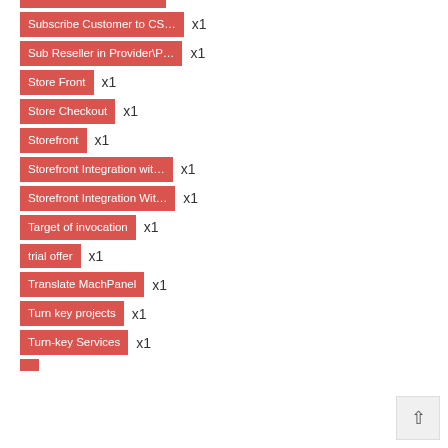Subscribe Customer to CS x1
Sub Reseller in Provider\P x1
Store Front x1
Store Checkout x1
Storefront x1
Storefront Integration wit x1
Storefront Integration Wit x1
Target of invocation x1
trial offer x1
Translate MachPanel x1
Turn key projects x1
Turn-key Services x1